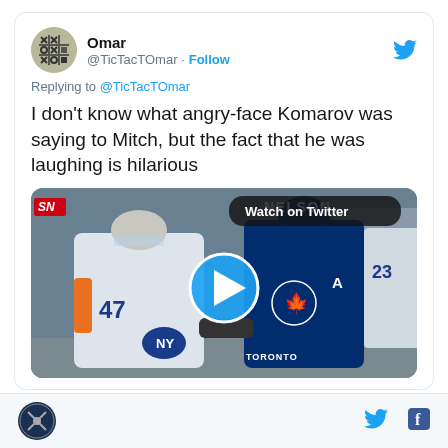[Figure (screenshot): Twitter/X avatar: tic-tac-toe board icon for user TicTacTOmar]
Omar
@TicTacTOmar · Follow
Replying to @TicTacTOmar
I don't know what angry-face Komarov was saying to Mitch, but the fact that he was laughing is hilarious
[Figure (photo): Hockey video thumbnail showing NHL players: a NY Islanders player (#47) and a Toronto Maple Leafs player (with A captain badge) facing each other on ice. Watch on Twitter badge overlay. Sportsnet SN logo top left. NELSON text visible top right. Play button in center.]
[Figure (logo): Sports website circular logo at bottom left]
[Figure (logo): Twitter bird icon bottom right]
[Figure (logo): Facebook f icon bottom right]